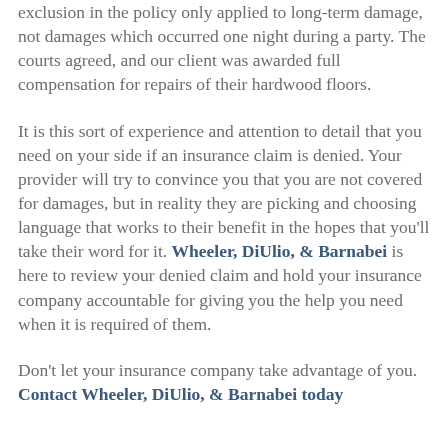exclusion in the policy only applied to long-term damage, not damages which occurred one night during a party. The courts agreed, and our client was awarded full compensation for repairs of their hardwood floors.
It is this sort of experience and attention to detail that you need on your side if an insurance claim is denied. Your provider will try to convince you that you are not covered for damages, but in reality they are picking and choosing language that works to their benefit in the hopes that you'll take their word for it. Wheeler, DiUlio, & Barnabei is here to review your denied claim and hold your insurance company accountable for giving you the help you need when it is required of them.
Don't let your insurance company take advantage of you. Contact Wheeler, DiUlio, & Barnabei today